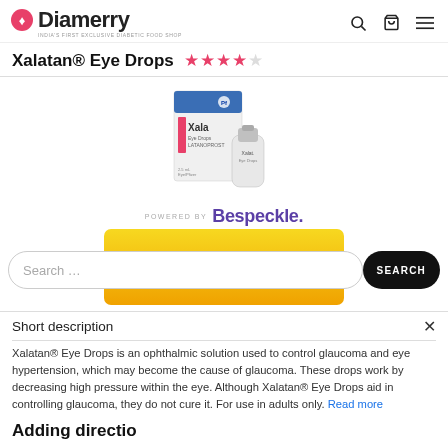Diamerry — INDIA'S FIRST EXCLUSIVE DIABETIC FOOD SHOP
Xalatan® Eye Drops — 4 out of 5 stars
[Figure (photo): Xalatan Eye Drops product box and bottle. White box with blue top, Xalatan branding, and small eye drop bottle in front.]
POWERED BY Bespeckle.
[Figure (screenshot): Yellow/orange BUY NOW button partially obscured by a search bar overlay]
Search ...
Short description
Xalatan® Eye Drops is an ophthalmic solution used to control glaucoma and eye hypertension, which may become the cause of glaucoma. These drops work by decreasing high pressure within the eye. Although Xalatan® Eye Drops aid in controlling glaucoma, they do not cure it. For use in adults only. Read more
Adding directions